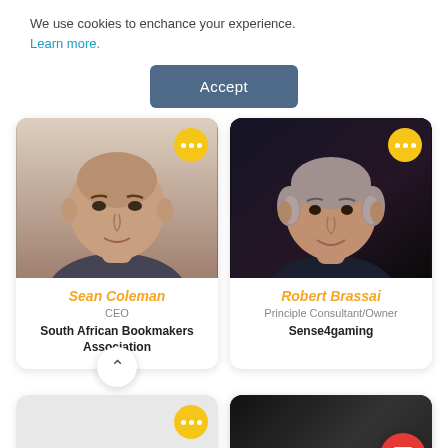We use cookies to enchance your experience. Learn more.
Accept
[Figure (photo): Headshot of Sean Coleman, a middle-aged bald man in a suit jacket, against a light background]
Sean Coleman
CEO
South African Bookmakers Association
[Figure (photo): Headshot of Robert Brassai, a grey-haired man smiling, dark background]
Robert Brassai
Principle Consultant/Owner
Sense4gaming
[Figure (photo): Partially visible card with yellow ellipsis button, bottom left]
[Figure (photo): Partially visible card with a person, bottom right, with red chat bubble overlay]